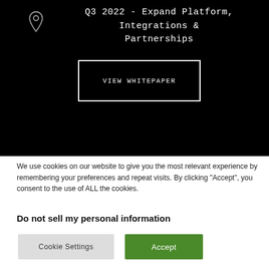[Figure (other): Dark background section with a location pin icon on the left, followed by text 'Q3 2022 - Expand Platform, Integrations & Partnerships', and a bordered button 'VIEW WHITEPAPER']
We use cookies on our website to give you the most relevant experience by remembering your preferences and repeat visits. By clicking "Accept", you consent to the use of ALL the cookies.
Do not sell my personal information
Cookie Settings
Accept